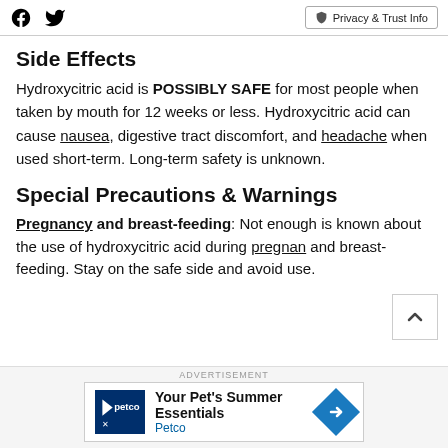Facebook Twitter | Privacy & Trust Info
Side Effects
Hydroxycitric acid is POSSIBLY SAFE for most people when taken by mouth for 12 weeks or less. Hydroxycitric acid can cause nausea, digestive tract discomfort, and headache when used short-term. Long-term safety is unknown.
Special Precautions & Warnings
Pregnancy and breast-feeding: Not enough is known about the use of hydroxycitric acid during pregnan... and breast-feeding. Stay on the safe side and avoid use.
ADVERTISEMENT
[Figure (other): Petco advertisement: Your Pet's Summer Essentials — Petco logo and navigation arrow icon]